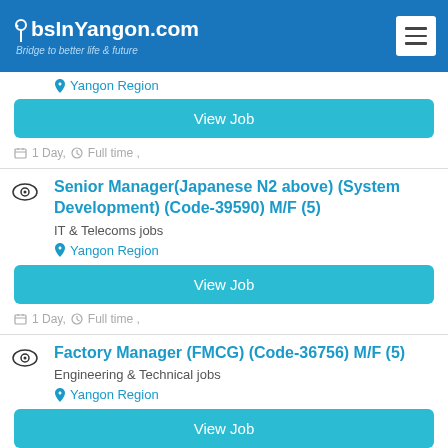JobsInYangon.com — Bridge to better life & future
Yangon Region
View Job
1 Day, Full time ,
Senior Manager(Japanese N2 above) (System Development) (Code-39590) M/F (5)
IT & Telecoms jobs
Yangon Region
View Job
1 Day, Full time ,
Factory Manager (FMCG) (Code-36756) M/F (5)
Engineering & Technical jobs
Yangon Region
View Job